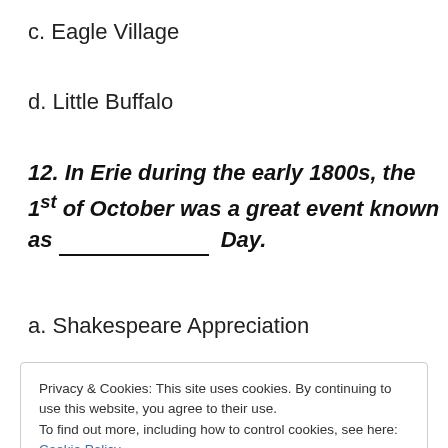c. Eagle Village
d. Little Buffalo
12. In Erie during the early 1800s, the 1st of October was a great event known as ____________ Day.
a. Shakespeare Appreciation
Privacy & Cookies: This site uses cookies. By continuing to use this website, you agree to their use.
To find out more, including how to control cookies, see here: Cookie Policy
Close and accept